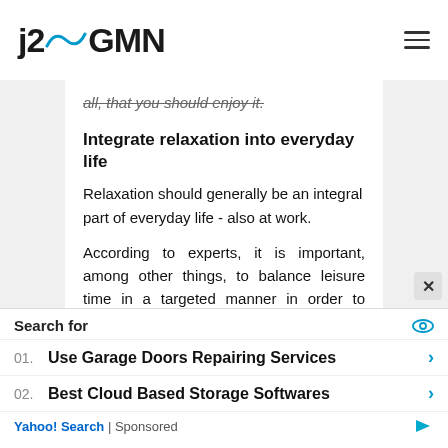j2GMN
all, that you should enjoy it.
Integrate relaxation into everyday life
Relaxation should generally be an integral part of everyday life - also at work.
According to experts, it is important, among other things, to balance leisure time in a targeted manner in order to balance work and leisure.
Stress reduction options include relaxation techniques such as yoga or
01. Use Garage Doors Repairing Services
02. Best Cloud Based Storage Softwares
Yahoo! Search | Sponsored